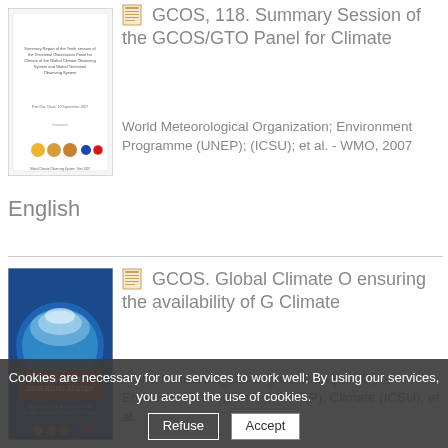[Figure (photo): Thumbnail of document cover: Summary Report of the Tenth session of the Terrestrial Observation Panel for Climate of the Global Climate Observing System and Global Terrestrial Observing System]
GCOS, 118. Summary Session of the GCOS/GTO Panel for Climate
World Meteorological Organization; Environment Programme (UNEP); (ICSU); et al. - WMO, 2007
English
[Figure (photo): Cover of Global Climate Observing System book with blue circular design showing clouds/earth imagery and red text reading GLOBAL CLIMATE OBSERVING SYSTEM]
GCOS. Global Climate G ensuring the availability of G Climate
World Meteorological Organization (WMO); Environment Programme (UNEP); Climate (ICSU); et al.
Cookies are necessary for our services to work well; By using our services, you accept the use of cookies.